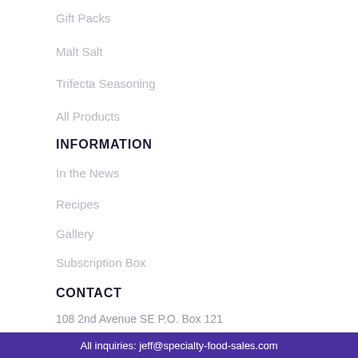Gift Packs
Malt Salt
Trifecta Seasoning
All Products
INFORMATION
In the News
Recipes
Gallery
Subscription Box
CONTACT
108 2nd Avenue SE P.O. Box 121
Altura, MN 55910
All inquiries: jeff@specialty-food-sales.com